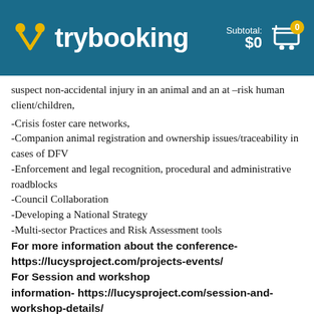trybooking — Subtotal: $0
suspect non-accidental injury in an animal and an at –risk human client/children,
-Crisis foster care networks,
-Companion animal registration and ownership issues/traceability in cases of DFV
-Enforcement and legal recognition, procedural and administrative roadblocks
-Council Collaboration
-Developing a National Strategy
-Multi-sector Practices and Risk Assessment tools
For more information about the conference- https://lucysproject.com/projects-events/ For Session and workshop information- https://lucysproject.com/session-and-workshop-details/
This jam-packed weekend will also feature a workshop for vets/vet nurses (with CPD points available) on Sunday